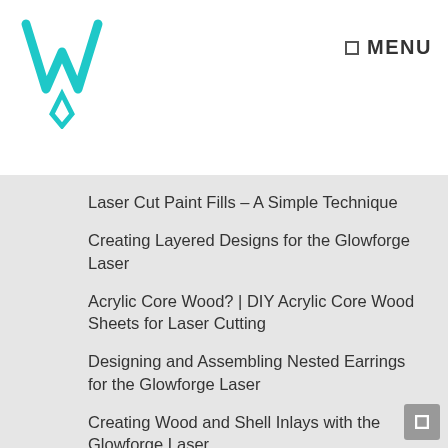[Figure (logo): Teal W-shaped logo with diamond accent, representing a crafting/laser cutting brand]
☐ MENU
Laser Cut Paint Fills – A Simple Technique
Creating Layered Designs for the Glowforge Laser
Acrylic Core Wood? | DIY Acrylic Core Wood Sheets for Laser Cutting
Designing and Assembling Nested Earrings for the Glowforge Laser
Creating Wood and Shell Inlays with the Glowforge Laser